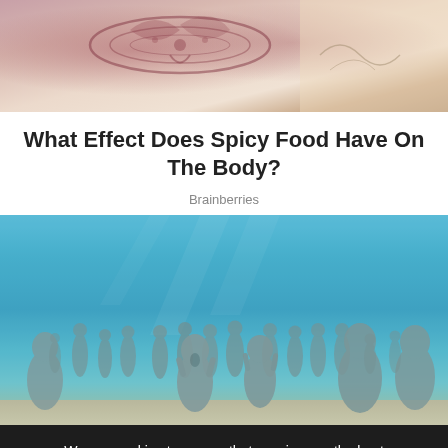[Figure (photo): Close-up photo of a hand with henna/mehndi decorative patterns, pinkish-brown tones]
What Effect Does Spicy Food Have On The Body?
Brainberries
[Figure (photo): Underwater museum photo showing numerous grey humanoid sculptures standing on sea floor with blue water above]
We use cookies to ensure that we give you the best experience on our website. If you continue to use this site we will assume that you are happy with it.